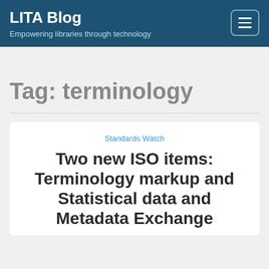LITA Blog
Empowering libraries through technology
Tag: terminology
Standards Watch
Two new ISO items: Terminology markup and Statistical data and Metadata Exchange